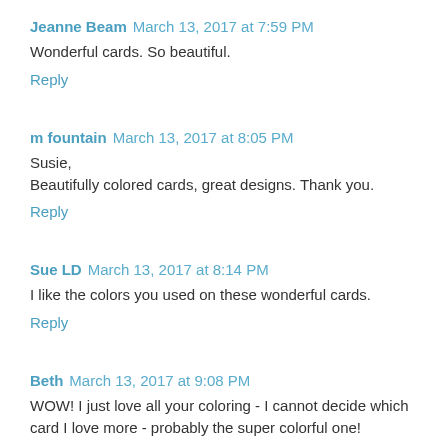Jeanne Beam  March 13, 2017 at 7:59 PM
Wonderful cards. So beautiful.
Reply
m fountain  March 13, 2017 at 8:05 PM
Susie,
Beautifully colored cards, great designs. Thank you.
Reply
Sue LD  March 13, 2017 at 8:14 PM
I like the colors you used on these wonderful cards.
Reply
Beth  March 13, 2017 at 9:08 PM
WOW! I just love all your coloring - I cannot decide which card I love more - probably the super colorful one!